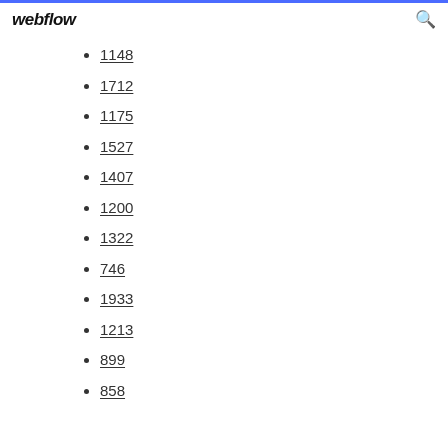webflow
1148
1712
1175
1527
1407
1200
1322
746
1933
1213
899
858